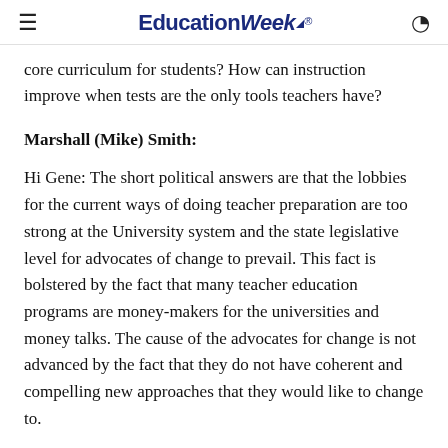EducationWeek
core curriculum for students? How can instruction improve when tests are the only tools teachers have?
Marshall (Mike) Smith:
Hi Gene: The short political answers are that the lobbies for the current ways of doing teacher preparation are too strong at the University system and the state legislative level for advocates of change to prevail. This fact is bolstered by the fact that many teacher education programs are money-makers for the universities and money talks. The cause of the advocates for change is not advanced by the fact that they do not have coherent and compelling new approaches that they would like to change to.